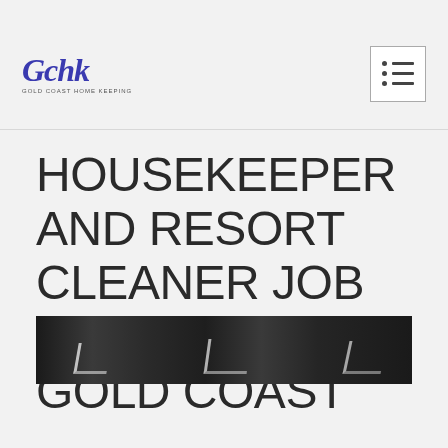Gchk GOLD COAST HOME KEEPING
HOUSEKEEPER AND RESORT CLEANER JOB VACANCIES GOLD COAST
[Figure (photo): Dark chalkboard-style banner image with chalk-drawn mountain/tent illustrations in white on a dark background]